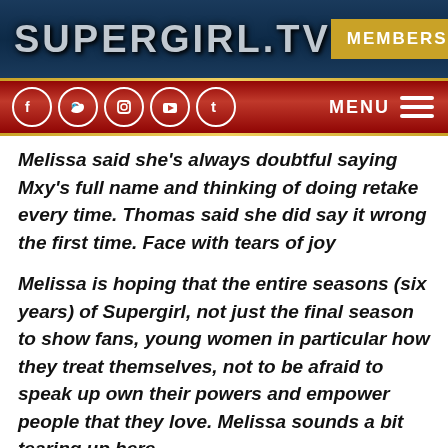SUPERGIRL.TV
MEMBERS
MENU
Melissa said she's always doubtful saying Mxy's full name and thinking of doing retake every time. Thomas said she did say it wrong the first time. Face with tears of joy
Melissa is hoping that the entire seasons (six years) of Supergirl, not just the final season to show fans, young women in particular how they treat themselves, not to be afraid to speak up own their powers and empower people that they love. Melissa sounds a bit tearing up here.
Melissa still said she can't discuss the costume